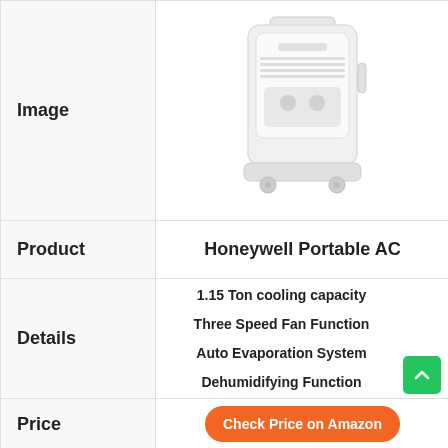Image
[Figure (photo): White Honeywell Portable Air Conditioner unit on wheels]
Product
Honeywell Portable AC
Details
1.15 Ton cooling capacity
Three Speed Fan Function
Auto Evaporation System
Dehumidifying Function
Price
Check Price on Amazon